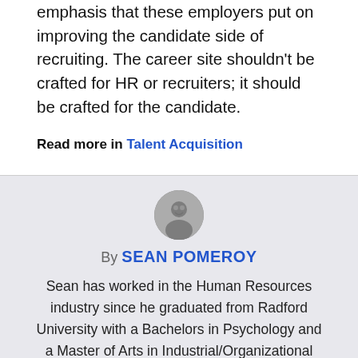emphasis that these employers put on improving the candidate side of recruiting. The career site shouldn't be crafted for HR or recruiters; it should be crafted for the candidate.
Read more in Talent Acquisition
[Figure (photo): Circular avatar photo of Sean Pomeroy in black and white]
By SEAN POMEROY
Sean has worked in the Human Resources industry since he graduated from Radford University with a Bachelors in Psychology and a Master of Arts in Industrial/Organizational